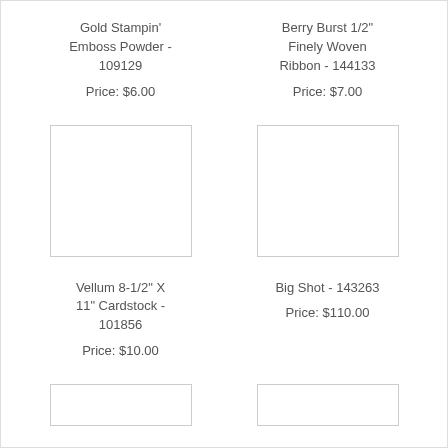Gold Stampin' Emboss Powder - 109129
Berry Burst 1/2" Finely Woven Ribbon - 144133
Price: $6.00
Price: $7.00
[Figure (other): Product image placeholder for Gold Stampin' Emboss Powder]
[Figure (other): Product image placeholder for Berry Burst Ribbon]
Vellum 8-1/2" X 11" Cardstock - 101856
Big Shot - 143263
Price: $10.00
Price: $110.00
[Figure (other): Product image placeholder for Vellum Cardstock]
[Figure (other): Product image placeholder for Big Shot]